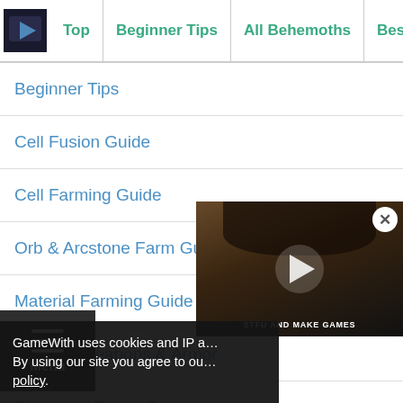Top | Beginner Tips | All Behemoths | Best Weapons
Beginner Tips
Cell Fusion Guide
Cell Farming Guide
Orb & Arcstone Farm Guide
Material Farming Guide
Crafting Weapons & Armor
Elemental Types System
How To Boop
[Figure (screenshot): Video player overlay showing a person, with a play button and close (X) button. Text at bottom reads 'STFU AND MAKE GAMES'.]
GameWith uses cookies and IP address. By using our site you agree to our cookie policy.